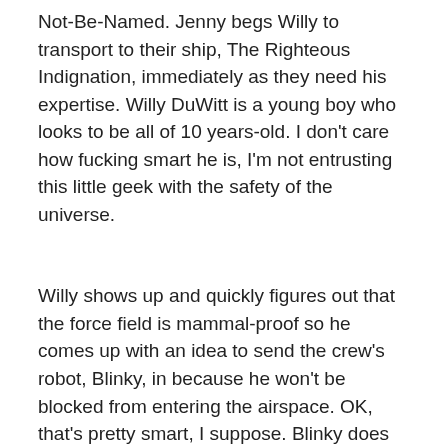Not-Be-Named. Jenny begs Willy to transport to their ship, The Righteous Indignation, immediately as they need his expertise. Willy DuWitt is a young boy who looks to be all of 10 years-old. I don't care how fucking smart he is, I'm not entrusting this little geek with the safety of the universe.
Willy shows up and quickly figures out that the force field is mammal-proof so he comes up with an idea to send the crew's robot, Blinky, in because he won't be blocked from entering the airspace. OK, that's pretty smart, I suppose. Blinky does make it through to the koala planet, but is quickly found out and captured by Toad Borg who is one of the top-level baddies here. He's a giant half-toad, half-robot thing, but is all evil.
They give Blinky some shock treatment and then leave,